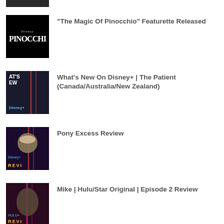[Figure (photo): Partial thumbnail at top of page, dark image cropped]
“The Magic Of Pinocchio” Featurette Released
What’s New On Disney+ | The Patient (Canada/Australia/New Zealand)
Pony Excess Review
Mike | Hulu/Star Original | Episode 2 Review